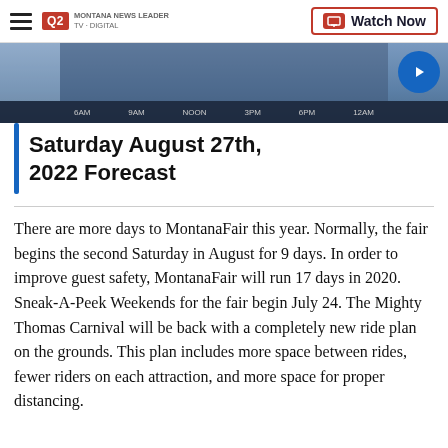Q2 Montana News Leader | Watch Now
[Figure (screenshot): Weather forecast screenshot showing a weather timeline with time labels: 6AM, 9AM, NOON, 3PM, 6PM, 12AM, with a meteorologist silhouette and a blue play button circle on the right.]
Saturday August 27th, 2022 Forecast
There are more days to MontanaFair this year. Normally, the fair begins the second Saturday in August for 9 days. In order to improve guest safety, MontanaFair will run 17 days in 2020. Sneak-A-Peek Weekends for the fair begin July 24. The Mighty Thomas Carnival will be back with a completely new ride plan on the grounds. This plan includes more space between rides, fewer riders on each attraction, and more space for proper distancing.